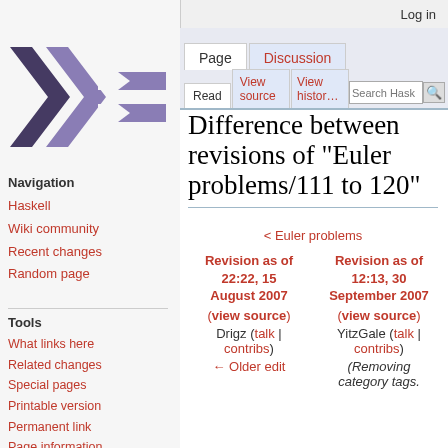Log in
[Figure (logo): Haskell wiki logo - stylized lambda symbol in dark gray]
Navigation
Haskell
Wiki community
Recent changes
Random page
Tools
What links here
Related changes
Special pages
Printable version
Permanent link
Page information
Cite this page
Difference between revisions of "Euler problems/111 to 120"
< Euler problems
| Revision as of 22:22, 15 August 2007 | Revision as of 12:13, 30 September 2007 |
| --- | --- |
| (view source) | (view source) |
| Drigz (talk | contribs) | YitzGale (talk | contribs) |
| ← Older edit | (Removing category tags. |